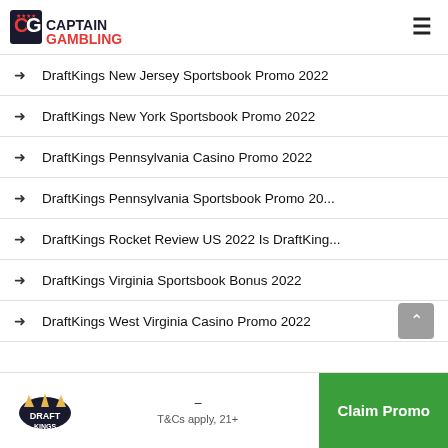CaptainGambling (logo) [hamburger menu]
DraftKings New Jersey Sportsbook Promo 2022
DraftKings New York Sportsbook Promo 2022
DraftKings Pennsylvania Casino Promo 2022
DraftKings Pennsylvania Sportsbook Promo 20...
DraftKings Rocket Review US 2022 Is DraftKing...
DraftKings Virginia Sportsbook Bonus 2022
DraftKings West Virginia Casino Promo 2022
DraftKings logo | T&Cs apply, 21+ | Claim Promo